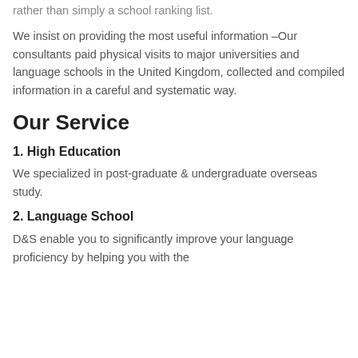rather than simply a school ranking list.
We insist on providing the most useful information –Our consultants paid physical visits to major universities and language schools in the United Kingdom, collected and compiled information in a careful and systematic way.
Our Service
1. High Education
We specialized in post-graduate & undergraduate overseas study.
2. Language School
D&S enable you to significantly improve your language proficiency by helping you with the